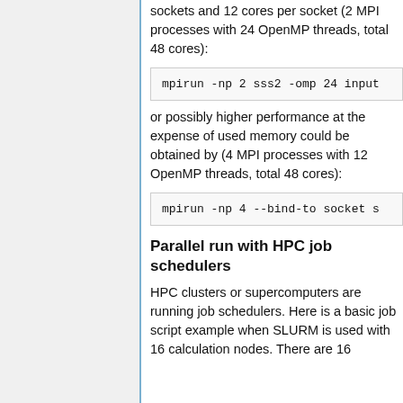sockets and 12 cores per socket (2 MPI processes with 24 OpenMP threads, total 48 cores):
mpirun -np 2 sss2 -omp 24 input
or possibly higher performance at the expense of used memory could be obtained by (4 MPI processes with 12 OpenMP threads, total 48 cores):
mpirun -np 4 --bind-to socket s
Parallel run with HPC job schedulers
HPC clusters or supercomputers are running job schedulers. Here is a basic job script example when SLURM is used with 16 calculation nodes. There are 16